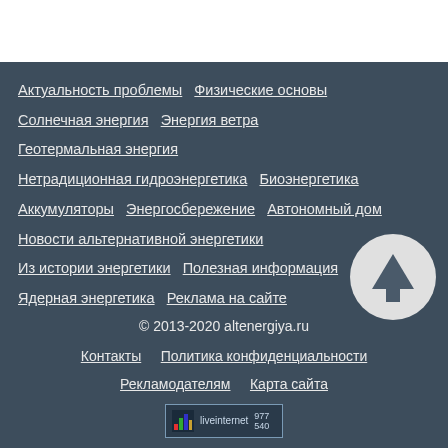Актуальность проблемы   Физические основы
Солнечная энергия   Энергия ветра
Геотермальная энергия
Нетрадиционная гидроэнергетика   Биоэнергетика
Аккумуляторы   Энергосбережение   Автономный дом
Новости альтернативной энергетики
Из истории энергетики   Полезная информация
Ядерная энергетика   Реклама на сайте
© 2013-2020 altenergiya.ru
Контакты   Политика конфиденциальности   Рекламодателям   Карта сайта
[Figure (logo): liveinternet statistics badge showing 977 and 540]
[Figure (other): Up arrow circular button for scroll to top]